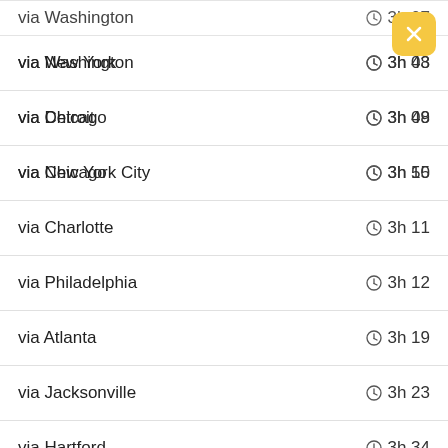via Washington — 3h 07 (partial/cut off)
via Washington — 3h 08
via Detroit — 3h 08
via Chicago — 3h 10
via Charlotte — 3h 11
via Philadelphia — 3h 12
via Atlanta — 3h 19
via Jacksonville — 3h 23
via Hartford — 3h 34
via New York — 3h 43
via Chicago — 3h 49
via New York City — 3h 55